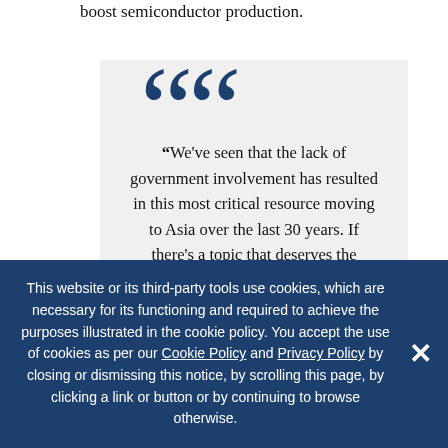boost semiconductor production.
“We've seen that the lack of government involvement has resulted in this most critical resource moving to Asia over the last 30 years. If there's a topic that deserves the involvement of governments
This website or its third-party tools use cookies, which are necessary for its functioning and required to achieve the purposes illustrated in the cookie policy. You accept the use of cookies as per our Cookie Policy and Privacy Policy by closing or dismissing this notice, by scrolling this page, by clicking a link or button or by continuing to browse otherwise.